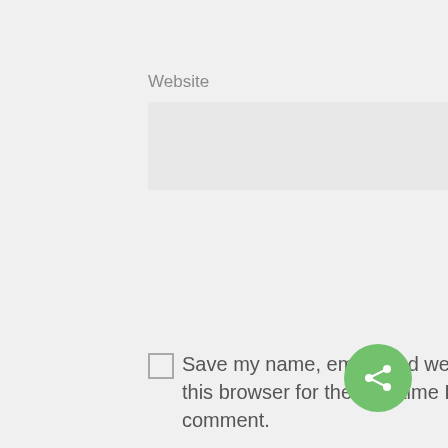Website
[Figure (screenshot): Empty text input field for Website URL, light grey background]
Save my name, email, and website in this browser for the next time I comment.
Submit Comment
[Figure (other): Green circular share button with share icon in bottom right corner]